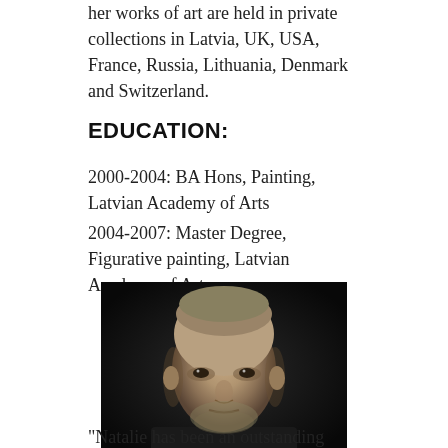her works of art are held in private collections in Latvia, UK, USA, France, Russia, Lithuania, Denmark and Switzerland.
EDUCATION:
2000-2004: BA Hons, Painting, Latvian Academy of Arts
2004-2007: Master Degree, Figurative painting, Latvian Academy of Arts
[Figure (photo): Black and white portrait photograph of a bald man with a beard, facing forward, dark background.]
"Natalie has been an outstanding student at